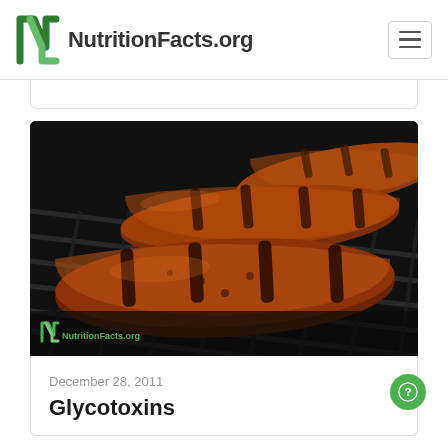NutritionFacts.org
[Figure (photo): Grilled sausages on a dark barbecue grill grate, close-up photo with NutritionFacts.org watermark in bottom left corner]
December 28, 2011
Glycotoxins